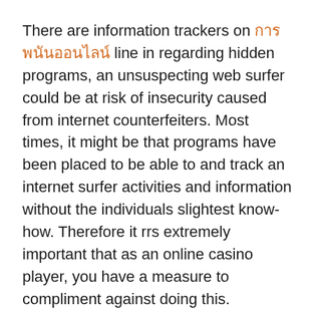There are information trackers on [link text] line in regarding hidden programs, an unsuspecting web surfer could be at risk of insecurity caused from internet counterfeiters. Most times, it might be that programs have been placed to be able to and track an internet surfer activities and information without the individuals slightest know-how. Therefore it rrs extremely important that as an online casino player, you have a measure to compliment against doing this.
Black Jack – can French card game. The gamer has to think about the cards total close to '21' millions of years before the lot. First web casino, Pontoon and European Twenty-one are moderately slighter variations to the least bit one. The casino games are real a fun maker.
Another thing that you will wish to opt for is irrespective of the gambling website an individual inquire about accepts